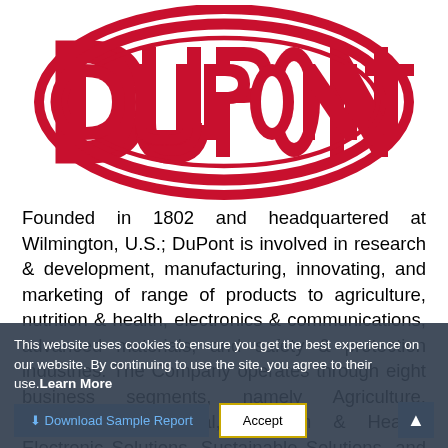[Figure (logo): DuPont logo — large red oval containing the text DU PONT in bold red block letters with white interior highlights]
Founded in 1802 and headquartered at Wilmington, U.S.; DuPont is involved in research & development, manufacturing, innovating, and marketing of range of products to agriculture, nutrition & health, electronics & communications, advanced materials, and safety & protection industries. The Company operates through eight business segments, namely Agriculture, Performance Material, Nutrition & Health, Electronic Solutions, Sustainable Solutions, and pioneer the Company sells dietary
This website uses cookies to ensure you get the best experience on our website. By continuing to use the site, you agree to their use.Learn More